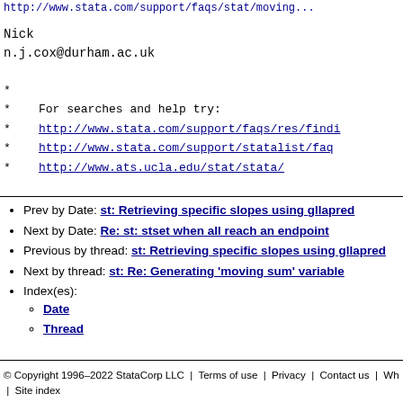http://www.stata.com/support/faqs/stat/moving...
Nick
n.j.cox@durham.ac.uk
*
*    For searches and help try:
*    http://www.stata.com/support/faqs/res/findi...
*    http://www.stata.com/support/statalist/faq
*    http://www.ats.ucla.edu/stat/stata/
Prev by Date: st: Retrieving specific slopes using gllapred
Next by Date: Re: st: stset when all reach an endpoint
Previous by thread: st: Retrieving specific slopes using gllapred
Next by thread: st: Re: Generating 'moving sum' variable
Index(es): Date, Thread
© Copyright 1996–2022 StataCorp LLC  |  Terms of use  |  Privacy  |  Contact us  |  What's new  |  Site index